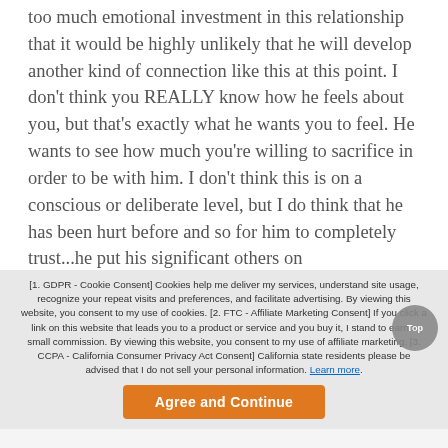too much emotional investment in this relationship that it would be highly unlikely that he will develop another kind of connection like this at this point. I don't think you REALLY know how he feels about you, but that's exactly what he wants you to feel. He wants to see how much you're willing to sacrifice in order to be with him. I don't think this is on a conscious or deliberate level, but I do think that he has been hurt before and so for him to completely trust...he put his significant others on
[1. GDPR - Cookie Consent] Cookies help me deliver my services, understand site usage, recognize your repeat visits and preferences, and facilitate advertising. By viewing this website, you consent to my use of cookies. [2. FTC - Affiliate Marketing Consent] If you click a link on this website that leads you to a product or service and you buy it, I stand to earn a small commission. By viewing this website, you consent to my use of affiliate marketing. [3. CCPA - California Consumer Privacy Act Consent] California state residents please be advised that I do not sell your personal information. Learn more.